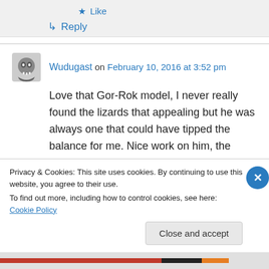★ Like
↳ Reply
Wudugast on February 10, 2016 at 3:52 pm
Love that Gor-Rok model, I never really found the lizards that appealing but he was always one that could have tipped the balance for me. Nice work on him, the stone and gold on the shield is just outstanding (great work on the skin too – all
Privacy & Cookies: This site uses cookies. By continuing to use this website, you agree to their use.
To find out more, including how to control cookies, see here: Cookie Policy
Close and accept